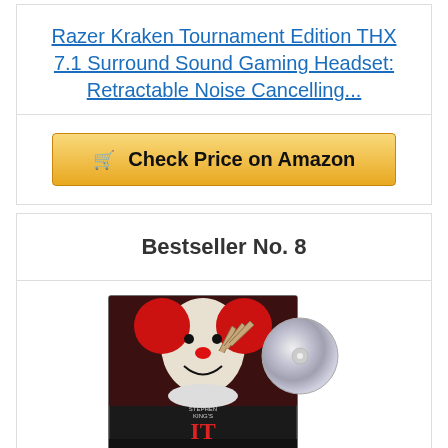Razer Kraken Tournament Edition THX 7.1 Surround Sound Gaming Headset: Retractable Noise Cancelling...
Check Price on Amazon
Bestseller No. 8
[Figure (photo): DVD cover of Stephen King's IT movie showing Pennywise the clown with a DVD disc partially visible to the right]